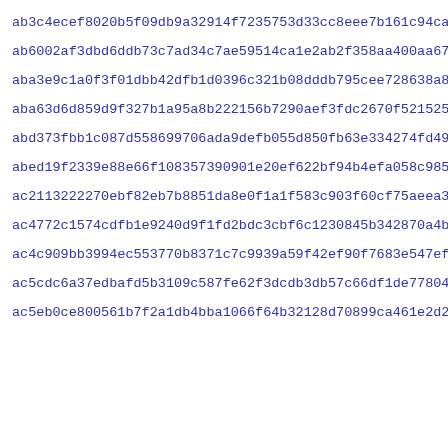ab3c4ecef8020b5f09db9a32914f7235753d33cc8eee7b161c94ca52700b7
ab6002af3dbd6ddb73c7ad34c7ae59514ca1e2ab2f358aa400aa672ae66e4
aba3e9c1a0f3f01dbb42dfb1d0396c321b08dddb795cee728638a8258eef8
aba63d6d859d9f327b1a95a8b222156b7290aef3fdc2670f5215255724c7e
abd373fbb1c087d558699706ada9defb055d850fb63e334274fd490831e9e
abed19f2339e88e66f108357390901e20ef622bf94b4efa058c985faa4bdd
ac2113222270ebf82eb7b8851da8e0f1a1f583c903f60cf75aeea37bdc4a9
ac4772c1574cdfb1e9240d9f1fd2bdc3cbf6c1230845b342870a4b46f0964
ac4c909bb3994ec553770b8371c7c9939a59f42ef90f7683e547efacb4377
ac5cdc6a37edbafd5b3109c587fe62f3dcdb3db57c66df1de77804292440d
ac5eb0ce800561b7f2a1db4bba1066f64b32128d70899ca461e2d2f19ed0f